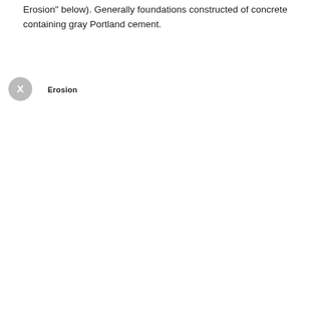Erosion" below). Generally foundations constructed of concrete containing gray Portland cement.
Erosion